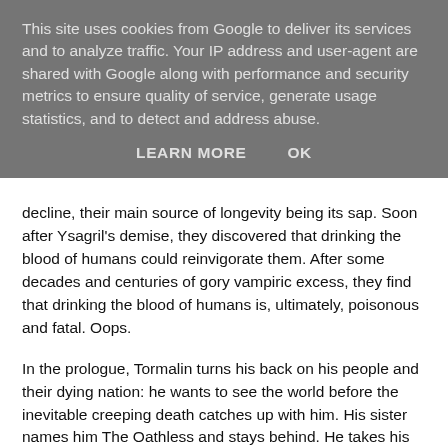This site uses cookies from Google to deliver its services and to analyze traffic. Your IP address and user-agent are shared with Google along with performance and security metrics to ensure quality of service, generate usage statistics, and to detect and address abuse.
LEARN MORE    OK
decline, their main source of longevity being its sap. Soon after Ysagril's demise, they discovered that drinking the blood of humans could reinvigorate them. After some decades and centuries of gory vampiric excess, they find that drinking the blood of humans is, ultimately, poisonous and fatal. Oops.
In the prologue, Tormalin turns his back on his people and their dying nation: he wants to see the world before the inevitable creeping death catches up with him. His sister names him The Oathless and stays behind. He takes his famous sword, The Ninth Rain, and sets out to have adventures...